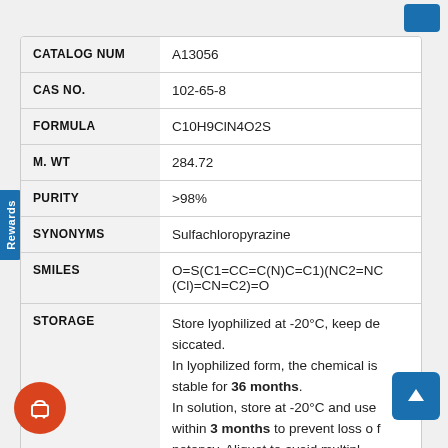| Field | Value |
| --- | --- |
| CATALOG NUM | A13056 |
| CAS NO. | 102-65-8 |
| FORMULA | C10H9ClN4O2S |
| M. WT | 284.72 |
| PURITY | >98% |
| SYNONYMS | Sulfachloropyrazine |
| SMILES | O=S(C1=CC=C(N)C=C1)(NC2=NC(Cl)=CN=C2)=O |
| STORAGE | Store lyophilized at -20°C, keep desiccated. In lyophilized form, the chemical is stable for 36 months. In solution, store at -20°C and use within 3 months to prevent loss of potency. Aliquot to avoid multipl |